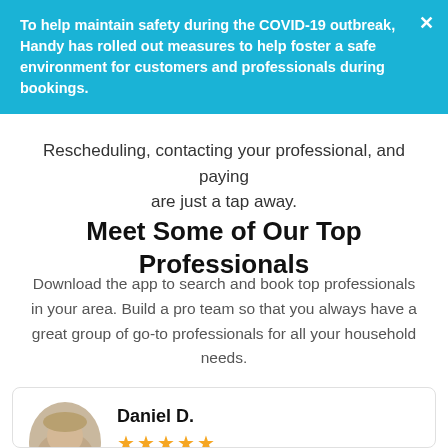To help maintain safety during the COVID-19 outbreak, Handy has rolled out measures to help foster a safe environment for customers and professionals during bookings.
Rescheduling, contacting your professional, and paying are just a tap away.
Meet Some of Our Top Professionals
Download the app to search and book top professionals in your area. Build a pro team so that you always have a great group of go-to professionals for all your household needs.
[Figure (photo): Profile card for Daniel D. with avatar photo and star rating]
Daniel D.